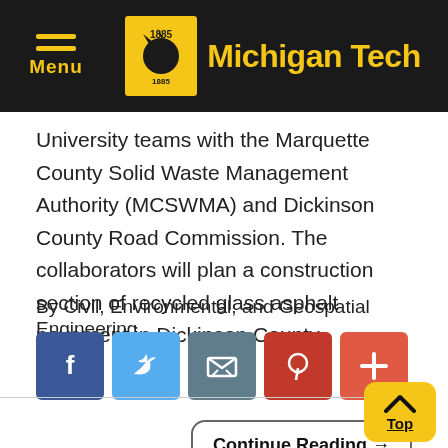Michigan Tech
University teams with the Marquette County Solid Waste Management Authority (MCSWMA) and Dickinson County Road Commission. The collaborators will plan a construction section of recycled glass asphalt pavement in Dickinson County.
By Civil, Environmental, and Geospatial Engineering.
[Figure (infographic): Social sharing buttons: Facebook (blue), Twitter (light blue), Email (gray), Pinterest (red), More/Plus (orange-red)]
Continue Reading →
Top